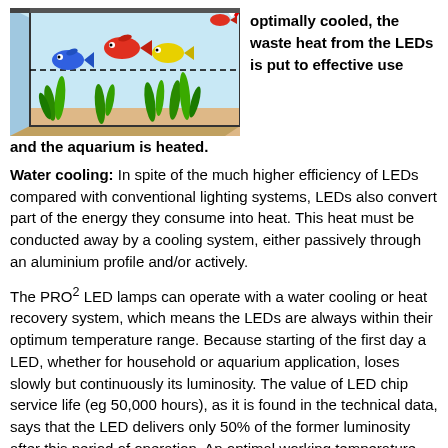[Figure (illustration): An aquarium illustration showing colorful fish (blue, red, orange, yellow) swimming among green aquatic plants with a sandy bottom and light blue water background. A dashed horizontal line is drawn across the middle of the aquarium.]
optimally cooled, the waste heat from the LEDs is put to effective use and the aquarium is heated.
Water cooling: In spite of the much higher efficiency of LEDs compared with conventional lighting systems, LEDs also convert part of the energy they consume into heat. This heat must be conducted away by a cooling system, either passively through an aluminium profile and/or actively.
The PRO² LED lamps can operate with a water cooling or heat recovery system, which means the LEDs are always within their optimum temperature range. Because starting of the first day a LED, whether for household or aquarium application, loses slowly but continuously its luminosity. The value of LED chip service life (eg 50,000 hours), as it is found in the technical data, says that the LED delivers only 50% of the former luminosity after this period of operation. An optimal working temperature through cooling significantly counteracts this creeping process.
Heat recovery: Heat energy that is lost in conventional LED lighting